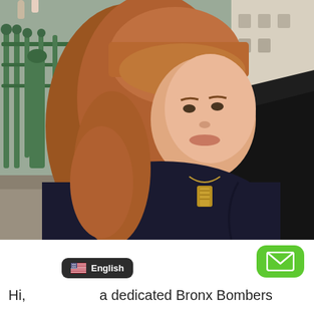[Figure (photo): Outdoor photo of a woman with long reddish-brown hair and bangs, wearing a dark navy top with a gold necklace, seated near what appears to be a bridge or waterway with green metal railings on the left and a stone building on the right background.]
[Figure (screenshot): Green rounded button with white mail/envelope icon in the bottom-right area]
English (language badge with US flag)
Hi, a dedicated Bronx Bombers